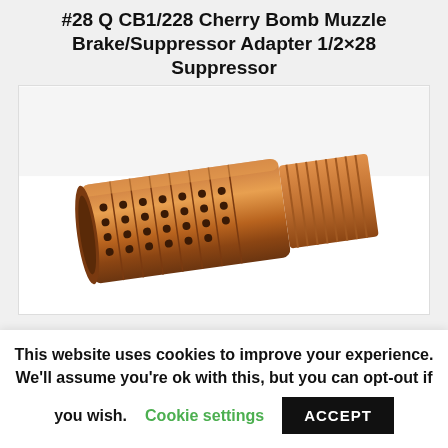#28 Q CB1/228 Cherry Bomb Muzzle Brake/Suppressor Adapter 1/2×28 Suppressor
[Figure (photo): Photo of a copper/bronze cylindrical muzzle brake/suppressor adapter with rows of holes and threaded end, shown on white background]
This website uses cookies to improve your experience. We'll assume you're ok with this, but you can opt-out if you wish. Cookie settings ACCEPT